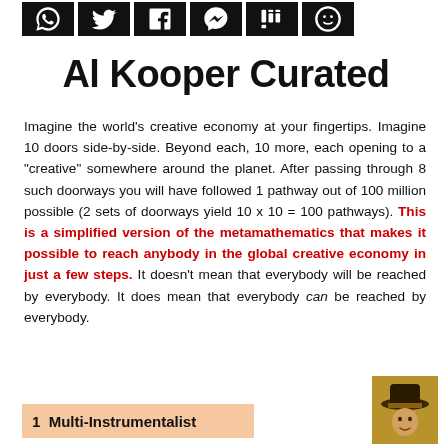[Figure (other): Row of social media icon buttons (WhatsApp, Twitter, Facebook, Messenger, Digg, and a smiley/Reddit icon) in black square boxes]
Al Kooper Curated
Imagine the world's creative economy at your fingertips. Imagine 10 doors side-by-side. Beyond each, 10 more, each opening to a "creative" somewhere around the planet. After passing through 8 such doorways you will have followed 1 pathway out of 100 million possible (2 sets of doorways yield 10 x 10 = 100 pathways). This is a simplified version of the metamathematics that makes it possible to reach anybody in the global creative economy in just a few steps. It doesn't mean that everybody will be reached by everybody. It does mean that everybody can be reached by everybody.
1  Multi-Instrumentalist
[Figure (photo): Small photo of a person wearing a hat]